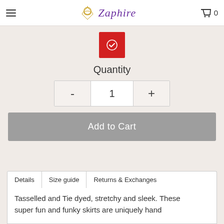Zaphire
[Figure (other): Red color swatch with white checkmark indicating selected color]
Quantity
- 1 +
Add to Cart
Details  Size guide  Returns & Exchanges
Tasselled and Tie dyed, stretchy and sleek. These super fun and funky skirts are uniquely hand